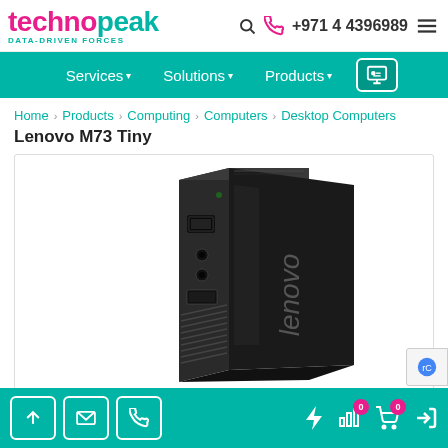technopeak DATA-DRIVEN FORCES | +971 4 4396989
Services ▾  Solutions ▾  Products ▾
Home  Products  Computing  Computers  Desktop Computers
Lenovo M73 Tiny
[Figure (photo): Photo of Lenovo M73 Tiny desktop mini PC, shown at an angle with USB ports, audio jacks and DisplayPort visible on the front, with the Lenovo logo on the side panel.]
Navigation icons: scroll-up, email, phone, lightning, bar-chart (0), cart (0), login